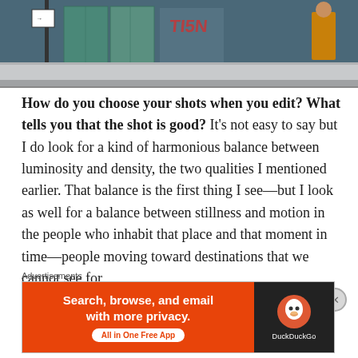[Figure (photo): Street photography image showing an urban scene with graffiti-covered shuttered storefronts, a sidewalk, and a person in orange/yellow clothing walking on the right side]
How do you choose your shots when you edit? What tells you that the shot is good? It's not easy to say but I do look for a kind of harmonious balance between luminosity and density, the two qualities I mentioned earlier. That balance is the first thing I see—but I look as well for a balance between stillness and motion in the people who inhabit that place and that moment in time—people moving toward destinations that we cannot see for
Advertisements
[Figure (screenshot): DuckDuckGo advertisement banner: orange left side reads 'Search, browse, and email with more privacy. All in One Free App' and dark right side shows DuckDuckGo duck logo and name]